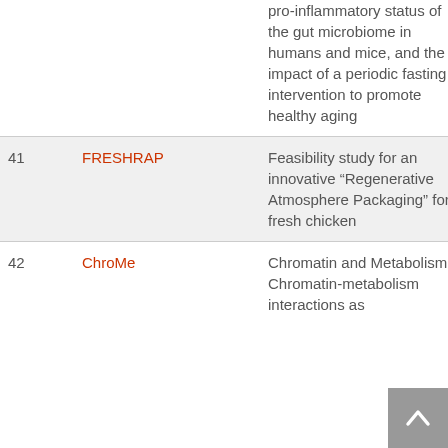| # | Project | Description |  |
| --- | --- | --- | --- |
|  |  | pro-inflammatory status of the gut microbiome in humans and mice, and the impact of a periodic fasting intervention to promote healthy aging |  |
| 41 | FRESHRAP | Feasibility study for an innovative “Regenerative Atmosphere Packaging” for fresh chicken | 2 |
| 42 | ChroMe | Chromatin and Metabolism Chromatin-metabolism interactions as | 2 |